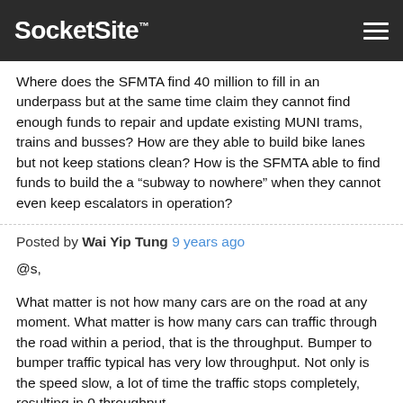SocketSite™
Where does the SFMTA find 40 million to fill in an underpass but at the same time claim they cannot find enough funds to repair and update existing MUNI trams, trains and busses? How are they able to build bike lanes but not keep stations clean? How is the SFMTA able to find funds to build the a “subway to nowhere” when they cannot even keep escalators in operation?
Posted by Wai Yip Tung 9 years ago
@s,
What matter is not how many cars are on the road at any moment. What matter is how many cars can traffic through the road within a period, that is the throughput. Bumper to bumper traffic typical has very low throughput. Not only is the speed slow, a lot of time the traffic stops completely, resulting in 0 throughput.
Also earlier I said that the throughput of slow and fast traffic are the same at one car per 3 seconds. My math was oversimplified. I haven't taken the length of the car into account. Taken that into consideration, fast traffic has higher throughput than slow traffic. E.g. assuming a car is about 15ft long, at 15mph, one car can come through every 4.9s, that is 857 cars per hour. At 35mph, one